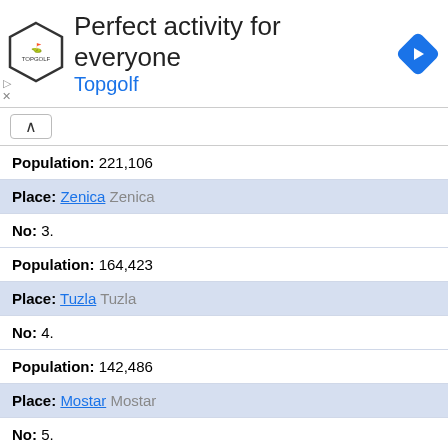[Figure (other): Topgolf advertisement banner with logo, text 'Perfect activity for everyone', subtext 'Topgolf', and a blue diamond navigation arrow icon]
Population: 221,106
Place: Zenica Zenica
No: 3.
Population: 164,423
Place: Tuzla Tuzla
No: 4.
Population: 142,486
Place: Mostar Mostar
No: 5.